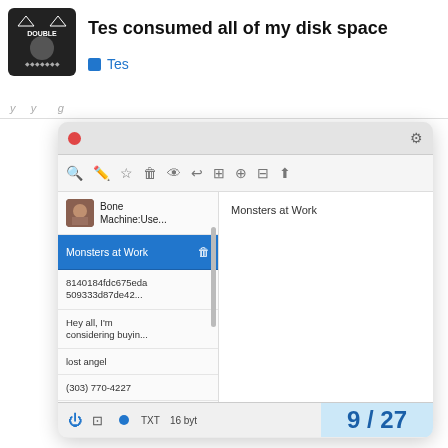Tes consumed all of my disk space
Tes
[Figure (screenshot): Application window screenshot showing a list manager app (Double Dog) with a sidebar listing items: Bone Machine:Use..., Monsters at Work (selected/highlighted in blue), 8140184fdc675eda509333d87de42..., Hey all, I'm considering buyin..., lost angel, (303) 770-4227, (303) 770-4227, https://www.1stclasshum..., also. The right pane shows 'Monsters at Work' as content. Bottom status bar shows power icon, layout icon, blue dot, TXT, 16 byt. Page indicator shows 9 / 27.]